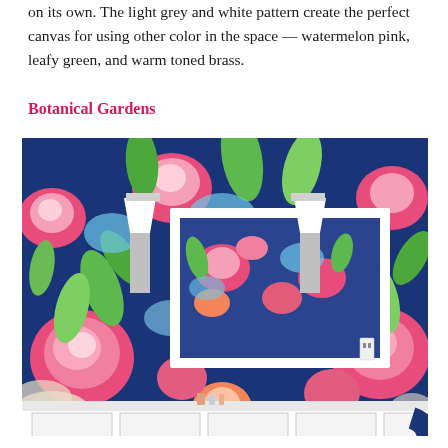on its own. The light grey and white pattern create the perfect canvas for using other color in the space — watermelon pink, leafy green, and warm toned brass.
Botanical Gardens
[Figure (photo): A bathroom interior with bold, colorful botanical floral wallpaper in navy blue, bright pink, green, and light blue. A white rectangular mirror with sconce lights on either side is centered on the wall. A white vanity cabinet is visible at the bottom.]